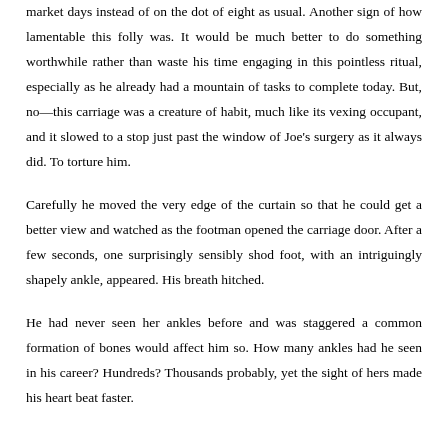market days instead of on the dot of eight as usual. Another sign of how lamentable this folly was. It would be much better to do something worthwhile rather than waste his time engaging in this pointless ritual, especially as he already had a mountain of tasks to complete today. But, no—this carriage was a creature of habit, much like its vexing occupant, and it slowed to a stop just past the window of Joe's surgery as it always did. To torture him.
Carefully he moved the very edge of the curtain so that he could get a better view and watched as the footman opened the carriage door. After a few seconds, one surprisingly sensibly shod foot, with an intriguingly shapely ankle, appeared. His breath hitched.
He had never seen her ankles before and was staggered a common formation of bones would affect him so. How many ankles had he seen in his career? Hundreds? Thousands probably, yet the sight of hers made his heart beat faster.